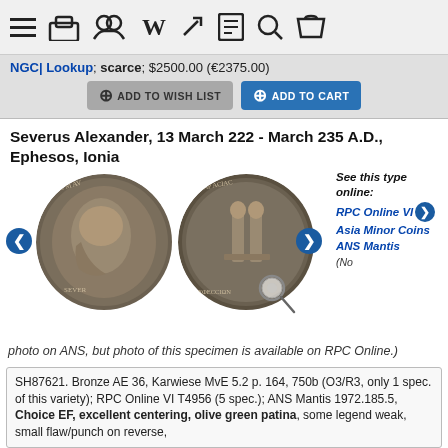Navigation bar with menu, home, group, Wikipedia, bookmark, document, search, cart icons
NGC| Lookup; scarce; $2500.00 (€2375.00)
ADD TO WISH LIST | ADD TO CART
Severus Alexander, 13 March 222 - March 235 A.D., Ephesos, Ionia
[Figure (photo): Two ancient bronze coins side by side: obverse (left) showing portrait of Severus Alexander, reverse (right) showing standing figures. Navigation arrows on sides. Magnifying glass icon at bottom right. See this type online links to RPC Online VI, Asia Minor Coins, ANS Mantis on the right side.]
(No photo on ANS, but photo of this specimen is available on RPC Online.)
SH87621. Bronze AE 36, Karwiese MvE 5.2 p. 164, 750b (O3/R3, only 1 spec. of this variety); RPC Online VI T4956 (5 spec.); ANS Mantis 1972.185.5, Choice EF, excellent centering, olive green patina, some legend weak, small flaw/punch on reverse,